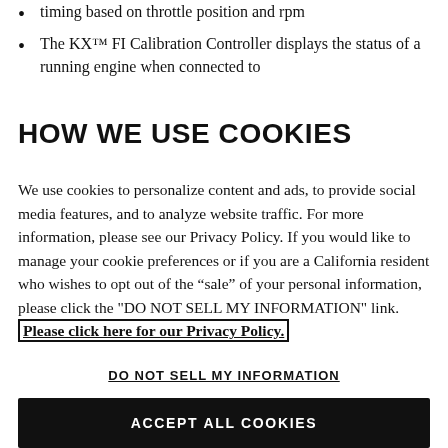timing based on throttle position and rpm
The KX™ FI Calibration Controller displays the status of a running engine when connected to
HOW WE USE COOKIES
We use cookies to personalize content and ads, to provide social media features, and to analyze website traffic. For more information, please see our Privacy Policy. If you would like to manage your cookie preferences or if you are a California resident who wishes to opt out of the "sale" of your personal information, please click the "DO NOT SELL MY INFORMATION" link. Please click here for our Privacy Policy.
DO NOT SELL MY INFORMATION
ACCEPT ALL COOKIES